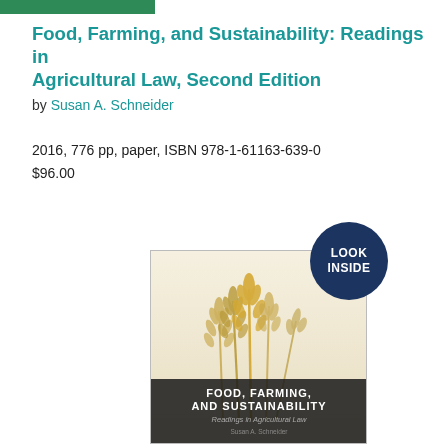[Figure (other): Green bar/banner at top of page]
Food, Farming, and Sustainability: Readings in Agricultural Law, Second Edition
by Susan A. Schneider
2016, 776 pp, paper, ISBN 978-1-61163-639-0
$96.00
[Figure (photo): Book cover of 'Food, Farming, and Sustainability: Readings in Agricultural Law' by Susan A. Schneider, showing wheat stalks on the cover, with a 'LOOK INSIDE' badge overlay]